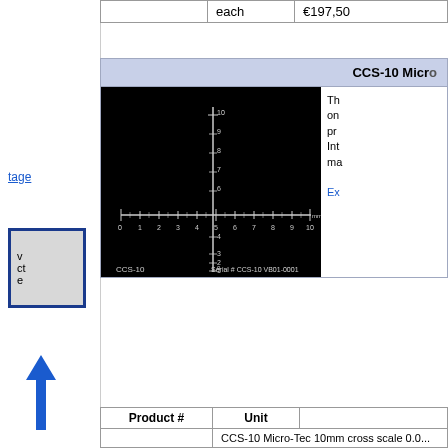|  | each | €197,50 |
| --- | --- | --- |
CCS-10 Micro...
[Figure (photo): CCS-10 microscope calibration slide photo on black background showing crosshair ruler scale 0-10mm. Label reads: CCS-10, Serial # CCS-10 VB01-0001]
Th... on... pr... Int... ma...
Ex...
| Product # | Unit |  |
| --- | --- | --- |
|  | CCS-10 Micro-Tec 10mm cross scale 0.0... |
v
ct
e
tage